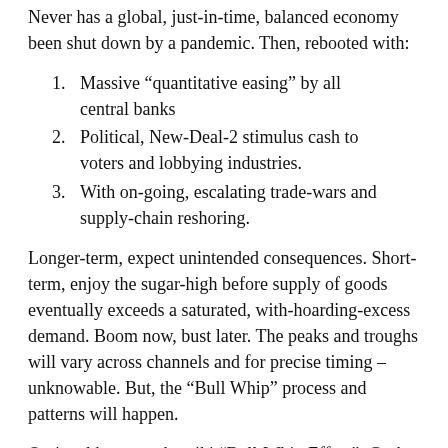Never has a global, just-in-time, balanced economy been shut down by a pandemic. Then, rebooted with:
Massive “quantitative easing” by all central banks
Political, New-Deal-2 stimulus cash to voters and lobbying industries.
With on-going, escalating trade-wars and supply-chain reshoring.
Longer-term, expect unintended consequences. Short-term, enjoy the sugar-high before supply of goods eventually exceeds a saturated, with-hoarding-excess demand. Boom now, bust later. The peaks and troughs will vary across channels and for precise timing – unknowable. But, the “Bull Whip” process and patterns will happen.
Optional homework: wiki “Bull-Whip Effect”. Grok it. Then, ask: how can your company maximize the boom gains? Minimize the bust hits? And, win big in the long-run?